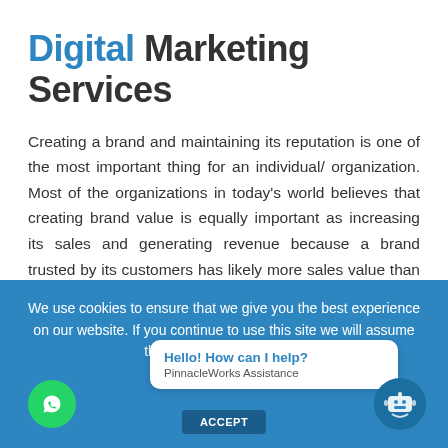Digital Marketing Services
Creating a brand and maintaining its reputation is one of the most important thing for an individual/ organization. Most of the organizations in today's world believes that creating brand value is equally important as increasing its sales and generating revenue because a brand trusted by its customers has likely more sales value than a brand which has good products but a lesser brand value.
We use cookies to ensure that we give you the best experience on our website. If you continue to use this site we will assume that you are happy with it.
Hello! How can I help?
PinnacleWorks Assistance